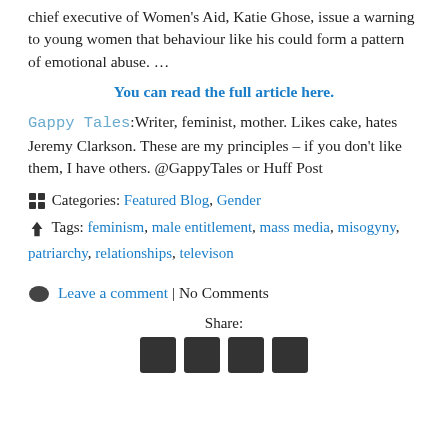chief executive of Women's Aid, Katie Ghose, issue a warning to young women that behaviour like his could form a pattern of emotional abuse. …
You can read the full article here.
Gappy Tales:Writer, feminist, mother. Likes cake, hates Jeremy Clarkson. These are my principles – if you don't like them, I have others. @GappyTales or Huff Post
Categories: Featured Blog, Gender
Tags: feminism, male entitlement, mass media, misogyny, patriarchy, relationships, televison
Leave a comment | No Comments
Share: